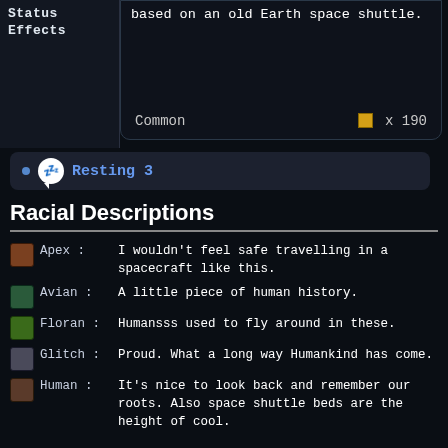Status Effects
based on an old Earth space shuttle.
Common    ■ x 190
Resting 3
Racial Descriptions
Apex : I wouldn't feel safe travelling in a spacecraft like this.
Avian : A little piece of human history.
Floran : Humansss used to fly around in these.
Glitch : Proud. What a long way Humankind has come.
Human : It's nice to look back and remember our roots. Also space shuttle beds are the height of cool.